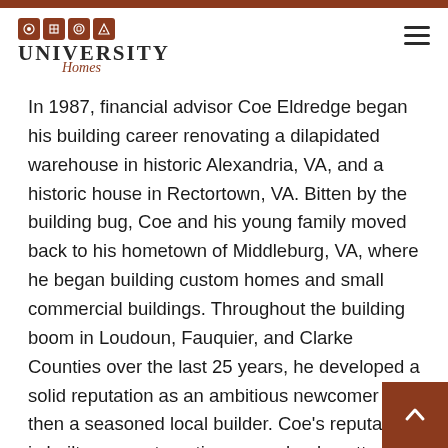[Figure (logo): University Homes logo with four brown icon squares above stylized text reading UNIVERSITY Homes]
In 1987, financial advisor Coe Eldredge began his building career renovating a dilapidated warehouse in historic Alexandria, VA, and a historic house in Rectortown, VA. Bitten by the building bug, Coe and his young family moved back to his hometown of Middleburg, VA, where he began building custom homes and small commercial buildings. Throughout the building boom in Loudoun, Fauquier, and Clarke Counties over the last 25 years, he developed a solid reputation as an ambitious newcomer and then a seasoned local builder. Coe's reputation is built on a systematic approach, plus attention to detail in the